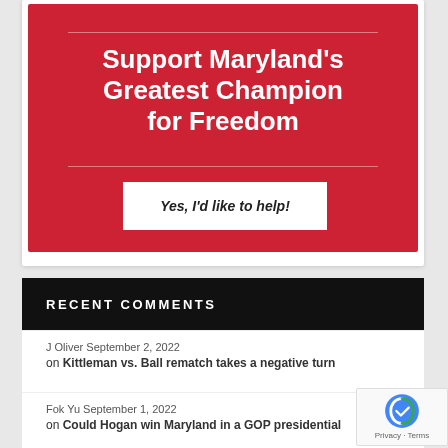[Figure (other): Red banner advertisement with white bold text reading 'Support Maryland's Greatest Champion for Freedom' and a white button labeled 'Yes, I'd like to help!']
RECENT COMMENTS
J Oliver September 2, 2022 on Kittleman vs. Ball rematch takes a negative turn
Fok Yu September 1, 2022 on Could Hogan win Maryland in a GOP presidential